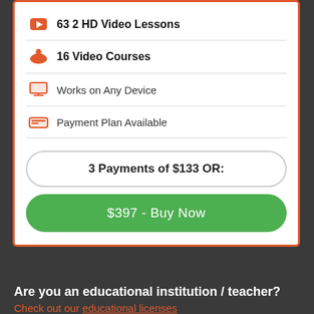632 HD Video Lessons
16 Video Courses
Works on Any Device
Payment Plan Available
3 Payments of $133 OR:
$397 - Buy Now
Are you an educational institution / teacher?
Check out our educational licenses